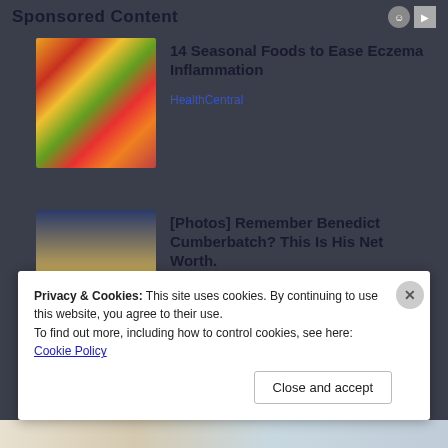Sponsored Content
[Figure (photo): Colorful fruits and vegetables including papaya, carrots, red peppers, tomatoes, citrus, and kiwi]
14 Seasonal Foods to Ease Eczema Inflammation
HealthCentral
[Figure (photo): A woman in yellow turtleneck and a man in suit standing together, celebrity photo]
[Photos] Remember Benedict Cumberbatch? This Is His Net Worth.
Fruitly
Privacy & Cookies: This site uses cookies. By continuing to use this website, you agree to their use.
To find out more, including how to control cookies, see here: Cookie Policy
Close and accept